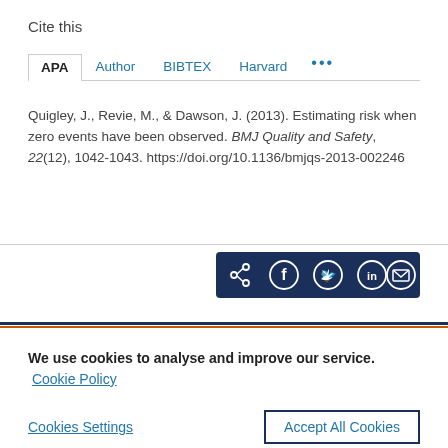Cite this
APA  Author  BIBTEX  Harvard  ...
Quigley, J., Revie, M., & Dawson, J. (2013). Estimating risk when zero events have been observed. BMJ Quality and Safety, 22(12), 1042-1043. https://doi.org/10.1136/bmjqs-2013-002246
[Figure (other): Social share buttons bar with icons for share, Facebook, Twitter, LinkedIn, and email on a dark navy background]
We use cookies to analyse and improve our service. Cookie Policy
Cookies Settings    Accept All Cookies